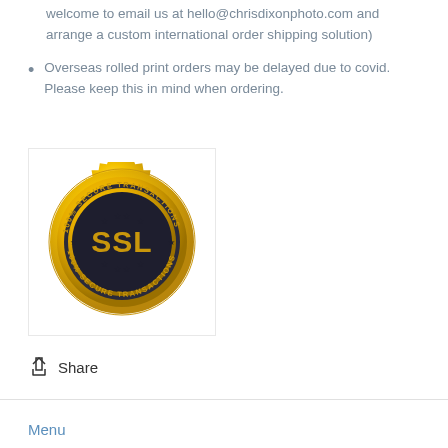welcome to email us at hello@chrisdixonphoto.com and arrange a custom international order shipping solution)
Overseas rolled print orders may be delayed due to covid. Please keep this in mind when ordering.
[Figure (illustration): Gold SSL 100% Secure Transactions badge/seal with 'SSL' text in center]
Share
Menu